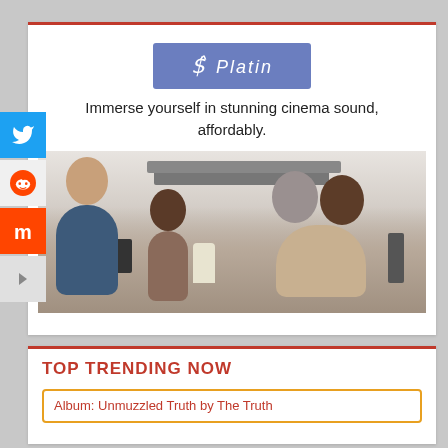[Figure (logo): Platin brand logo — blue-purple rectangle with italic white text 'C Platin']
Immerse yourself in stunning cinema sound, affordably.
[Figure (photo): Family sitting on a couch watching TV with home theater speakers visible]
TOP TRENDING NOW
Album: Unmuzzled Truth by The Truth